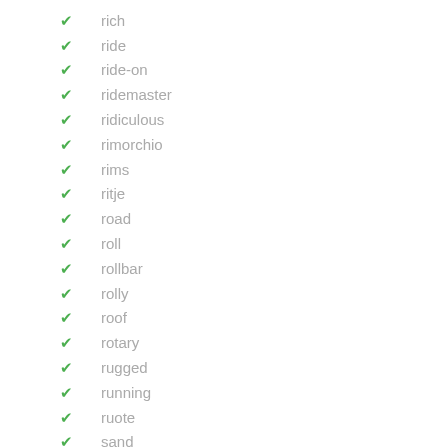rich
ride
ride-on
ridemaster
ridiculous
rimorchio
rims
ritje
road
roll
rollbar
rolly
roof
rotary
rugged
running
ruote
sand